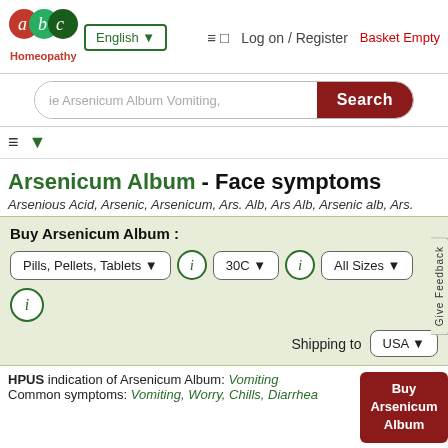≡ □  Log on / Register  Basket Empty
[Figure (logo): ABC Homeopathy logo with red 'a', green 'b', dark green 'c' circles and 'Homeopathy' text below]
English ▼
ie Arsenicum Album Vomiting,
Search
Arsenicum Album - Face symptoms
Arsenious Acid, Arsenic, Arsenicum, Ars. Alb, Ars Alb, Arsenic alb, Ars.
Buy Arsenicum Album :
Pills, Pellets, Tablets ▼
30C ▼
All Sizes ▼
Shipping to USA ▼
HPUS indication of Arsenicum Album: Vomiting
Common symptoms: Vomiting, Worry, Chills, Diarrhea
Buy Arsenicum Album